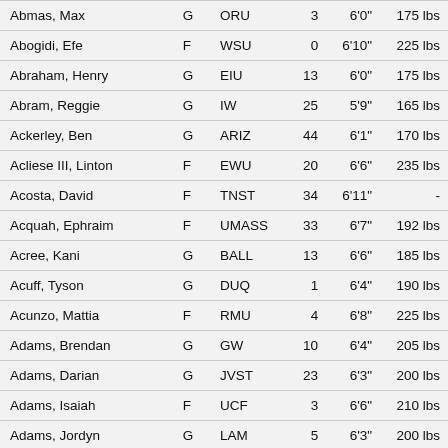| Name | Pos | School | # | Height | Weight |
| --- | --- | --- | --- | --- | --- |
| Abmas, Max | G | ORU | 3 | 6'0" | 175 lbs |
| Abogidi, Efe | F | WSU | 0 | 6'10" | 225 lbs |
| Abraham, Henry | G | EIU | 13 | 6'0" | 175 lbs |
| Abram, Reggie | G | IW | 25 | 5'9" | 165 lbs |
| Ackerley, Ben | G | ARIZ | 44 | 6'1" | 170 lbs |
| Acliese III, Linton | F | EWU | 20 | 6'6" | 235 lbs |
| Acosta, David | F | TNST | 34 | 6'11" | - |
| Acquah, Ephraim | F | UMASS | 33 | 6'7" | 192 lbs |
| Acree, Kani | G | BALL | 13 | 6'6" | 185 lbs |
| Acuff, Tyson | G | DUQ | 1 | 6'4" | 190 lbs |
| Acunzo, Mattia | F | RMU | 4 | 6'8" | 225 lbs |
| Adams, Brendan | G | GW | 10 | 6'4" | 205 lbs |
| Adams, Darian | G | JVST | 23 | 6'3" | 200 lbs |
| Adams, Isaiah | F | UCF | 3 | 6'6" | 210 lbs |
| Adams, Jordyn | G | LAM | 5 | 6'3" | 200 lbs |